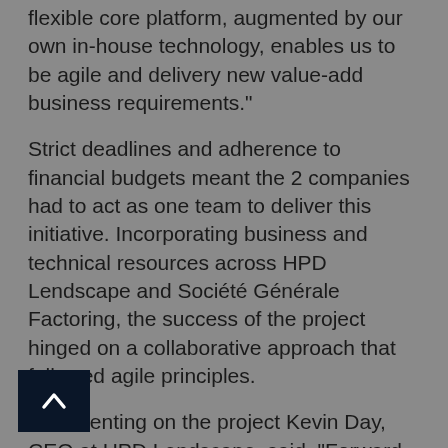flexible core platform, augmented by our own in-house technology, enables us to be agile and delivery new value-add business requirements."
Strict deadlines and adherence to financial budgets meant the 2 companies had to act as one team to deliver this initiative. Incorporating business and technical resources across HPD Lendscape and Société Générale Factoring, the success of the project hinged on a collaborative approach that followed agile principles.
Commenting on the project Kevin Day, CEO at HPD Lendscape, said, "Forward-thinking organisations like Société Générale Factoring are key to us channelling investments that align to the industry needs and realising value for our customers. I am extremely impressed with how the team worked together to overcome challenges and achieve delivery."